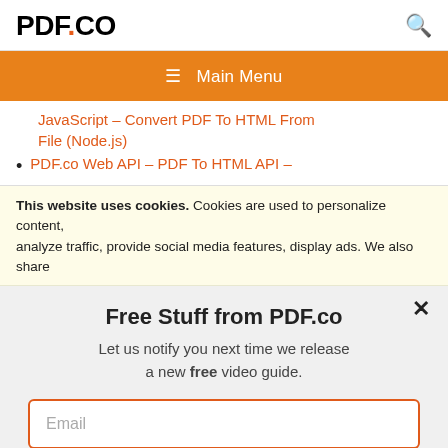PDF.CO
≡ Main Menu
JavaScript – Convert PDF To HTML From File (Node.js)
PDF.co Web API – PDF To HTML API –
This website uses cookies. Cookies are used to personalize content, analyze traffic, provide social media features, display ads. We also share
Free Stuff from PDF.co
Let us notify you next time we release a new free video guide.
Email
SUBSCRIBE